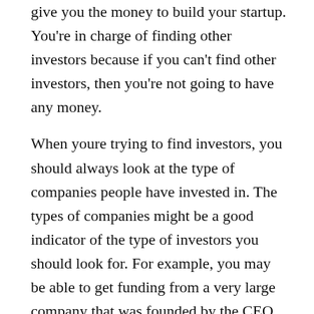give you the money to build your startup. You're in charge of finding other investors because if you can't find other investors, then you're not going to have any money.
When youre trying to find investors, you should always look at the type of companies people have invested in. The types of companies might be a good indicator of the type of investors you should look for. For example, you may be able to get funding from a very large company that was founded by the CEO of a very large company with a very large following. If this is the case, you should probably look at that company's funding history.
In our survey of 2,700 companies, we found a very